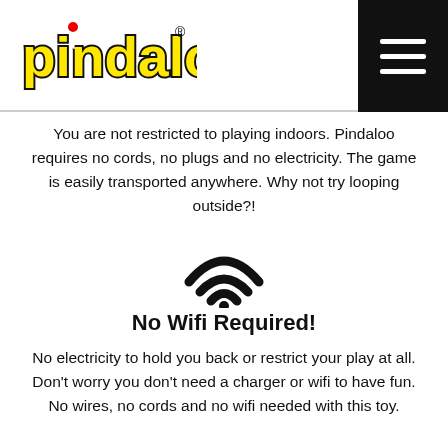[Figure (logo): Pindaloo logo in yellow and black lettering with a red dot above the letter i]
[Figure (illustration): Hamburger menu icon (three white horizontal lines on black background) in top-right corner]
You are not restricted to playing indoors. Pindaloo requires no cords, no plugs and no electricity. The game is easily transported anywhere. Why not try looping outside?!
[Figure (illustration): WiFi symbol icon in black]
No Wifi Required!
No electricity to hold you back or restrict your play at all. Don't worry you don't need a charger or wifi to have fun. No wires, no cords and no wifi needed with this toy.